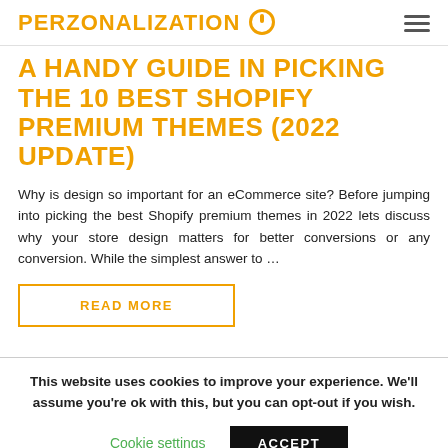PERZONALIZATION
A HANDY GUIDE IN PICKING THE 10 BEST SHOPIFY PREMIUM THEMES (2022 UPDATE)
Why is design so important for an eCommerce site? Before jumping into picking the best Shopify premium themes in 2022 lets discuss why your store design matters for better conversions or any conversion. While the simplest answer to …
READ MORE
This website uses cookies to improve your experience. We'll assume you're ok with this, but you can opt-out if you wish.
Cookie settings
ACCEPT